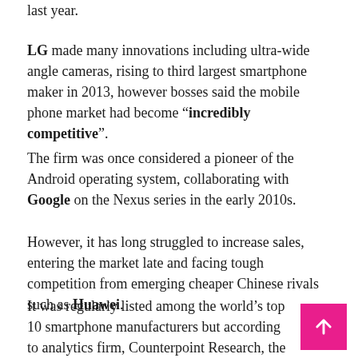last year.
LG made many innovations including ultra-wide angle cameras, rising to third largest smartphone maker in 2013, however bosses said the mobile phone market had become "incredibly competitive".
The firm was once considered a pioneer of the Android operating system, collaborating with Google on the Nexus series in the early 2010s.
However, it has long struggled to increase sales, entering the market late and facing tough competition from emerging cheaper Chinese rivals such as Huawei.
It was regularly listed among the world's top 10 smartphone manufacturers but according to analytics firm, Counterpoint Research, the last time it recorded a global market share of three percent or more was in the second quarter of 2018.